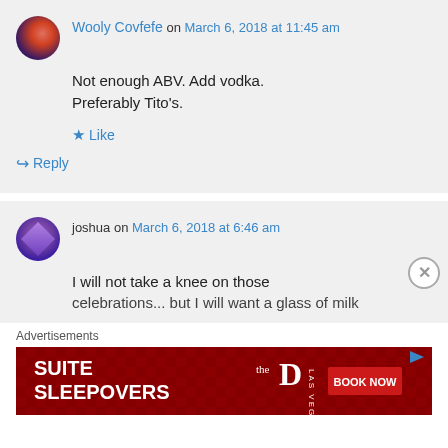Wooly Covfefe on March 6, 2018 at 11:45 am
Not enough ABV. Add vodka. Preferably Tito's.
★ Like
↳ Reply
joshua on March 6, 2018 at 6:46 am
I will not take a knee on those celebrations... but I will want a glass of milk
Advertisements
[Figure (screenshot): Advertisement banner for Suite Sleepovers at The D Las Vegas with Book Now button]